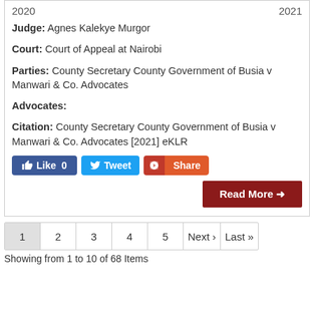2020   2021
Judge: Agnes Kalekye Murgor
Court: Court of Appeal at Nairobi
Parties: County Secretary County Government of Busia v Manwari & Co. Advocates
Advocates:
Citation: County Secretary County Government of Busia v Manwari & Co. Advocates [2021] eKLR
[Figure (screenshot): Social sharing buttons: Like 0 (Facebook blue), Tweet (Twitter blue), Share (orange/red)]
[Figure (screenshot): Read More button in dark red with arrow]
1  2  3  4  5  Next ›  Last »
Showing from 1 to 10 of 68 Items